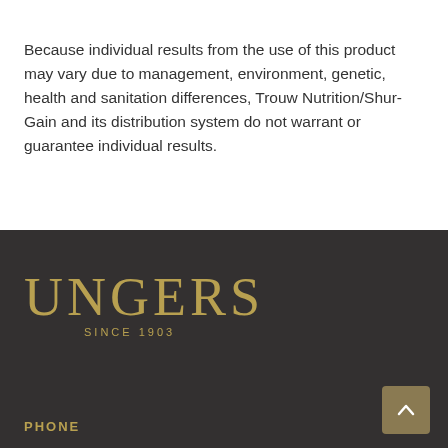Because individual results from the use of this product may vary due to management, environment, genetic, health and sanitation differences, Trouw Nutrition/Shur-Gain and its distribution system do not warrant or guarantee individual results.
[Figure (logo): Ungers logo with text 'UNGERS' in large gold serif letters and 'SINCE 1903' in smaller gold letters below]
PHONE